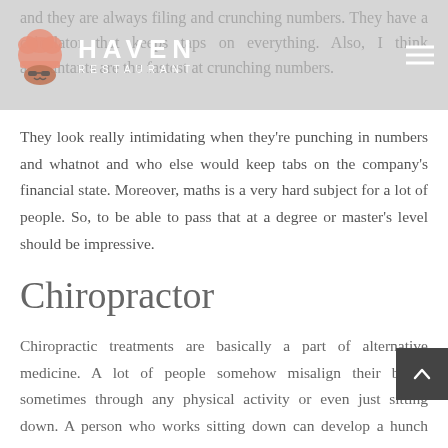HAVEN RESTAURANT
and they are always filing and crunching numbers. They have a calculator that keeps taps on everything. Also, I think accountants are the fastest at crunching numbers.
They look really intimidating when they're punching in numbers and whatnot and who else would keep tabs on the company's financial state. Moreover, maths is a very hard subject for a lot of people. So, to be able to pass that at a degree or master's level should be impressive.
Chiropractor
Chiropractic treatments are basically a part of alternative medicine. A lot of people somehow misalign their bones sometimes through any physical activity or even just sitting down. A person who works sitting down can develop a hunch over time and maybe hurt their back and that's what chiropractors are here for. To be able to snap or crack someone's bones back into place is something that A lot of people